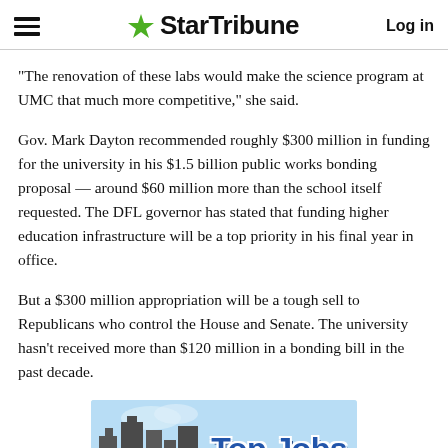StarTribune  Log in
“The renovation of these labs would make the science program at UMC that much more competitive,” she said.
Gov. Mark Dayton recommended roughly $300 million in funding for the university in his $1.5 billion public works bonding proposal — around $60 million more than the school itself requested. The DFL governor has stated that funding higher education infrastructure will be a top priority in his final year in office.
But a $300 million appropriation will be a tough sell to Republicans who control the House and Senate. The university hasn’t received more than $120 million in a bonding bill in the past decade.
[Figure (infographic): Top Jobs advertisement banner with city skyline silhouette and blue sky background]